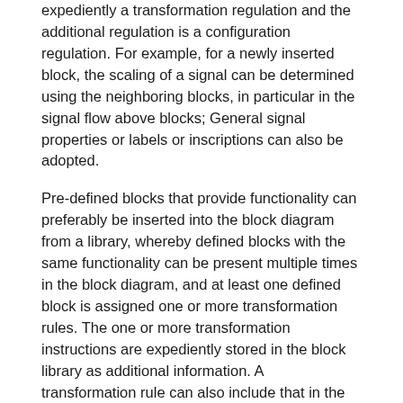expediently a transformation regulation and the additional regulation is a configuration regulation. For example, for a newly inserted block, the scaling of a signal can be determined using the neighboring blocks, in particular in the signal flow above blocks; General signal properties or labels or inscriptions can also be adopted.
Pre-defined blocks that provide functionality can preferably be inserted into the block diagram from a library, whereby defined blocks with the same functionality can be present multiple times in the block diagram, and at least one defined block is assigned one or more transformation rules. The one or more transformation instructions are expediently stored in the block library as additional information. A transformation rule can also include that in the event that there are several instances of a block in the block diagram, a common function is defined for the instances and a data structure with the block variables for each instance, depending on block to be executed the corresponding data structure is transferred to the function.
A rule preferably includes the automatic insertion of a scaling block if the middle block in the modified block